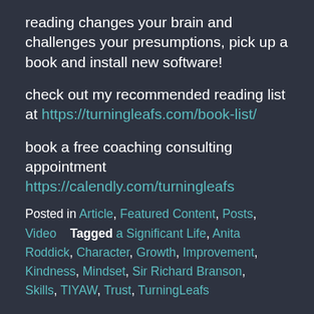reading changes your brain and challenges your presumptions, pick up a book and install new software!
check out my recommended reading list at https://turningleafs.com/book-list/
book a free coaching consulting appointment https://calendly.com/turningleafs
Posted in Article, Featured Content, Posts, Video   Tagged a Significant Life, Anita Roddick, Character, Growth, Improvement, Kindness, Mindset, Sir Richard Branson, Skills, TIYAW, Trust, TurningLeafs